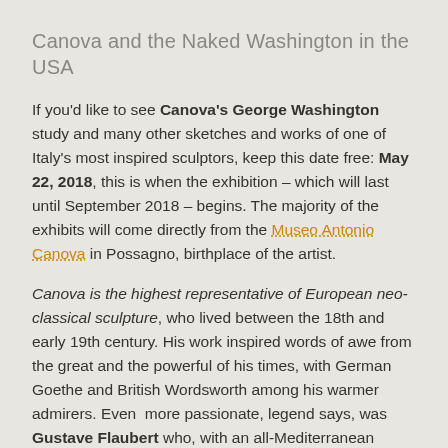Canova and the Naked Washington in the USA
If you'd like to see Canova's George Washington study and many other sketches and works of one of Italy's most inspired sculptors, keep this date free: May 22, 2018, this is when the exhibition – which will last until September 2018 – begins. The majority of the exhibits will come directly from the Museo Antonio Canova in Possagno, birthplace of the artist.
Canova is the highest representative of European neo-classical sculpture, who lived between the 18th and early 19th century. His work inspired words of awe from the great and the powerful of his times, with German Goethe and British Wordsworth among his warmer admirers. Even  more passionate, legend says, was Gustave Flaubert who, with an all-Mediterranean afflatus typical of the Italian and the French combined, Canova before